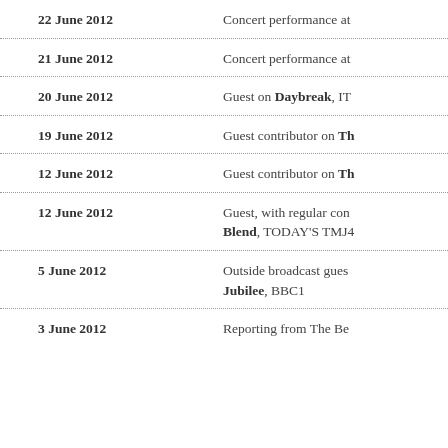22 June 2012 — Concert performance at
21 June 2012 — Concert performance at
20 June 2012 — Guest on Daybreak, IT
19 June 2012 — Guest contributor on Th
12 June 2012 — Guest contributor on Th
12 June 2012 — Guest, with regular con Blend, TODAY'S TMJ4
5 June 2012 — Outside broadcast guest Jubilee, BBC1
3 June 2012 — Reporting from The Be